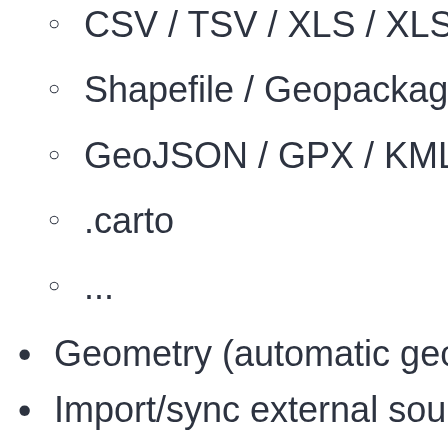CSV / TSV / XLS / XLSX
Shapefile / Geopackage
GeoJSON / GPX / KML
.carto
...
Geometry (automatic geoloc…
Import/sync external source…
GDrive / Dropbox / Box /…